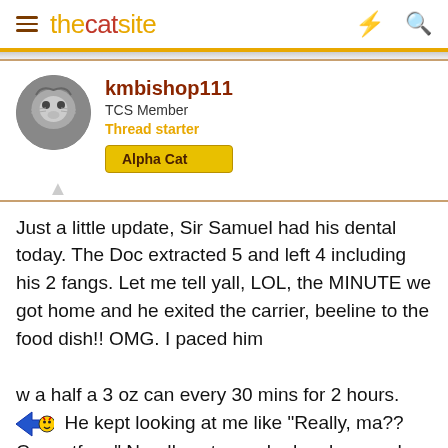thecatsite
kmbishop111
TCS Member
Thread starter
Alpha Cat
Just a little update, Sir Samuel had his dental today. The Doc extracted 5 and left 4 including his 2 fangs. Let me tell yall, LOL, the MINUTE we got home and he exited the carrier, beeline to the food dish!! OMG. I paced him w a half a 3 oz can every 30 mins for 2 hours. 🐈 He kept looking at me like "Really, ma?? Come tf on." Needless to say he has bounced back 100%.
daftcat75, Norachan, Antonio65 and 1 other person